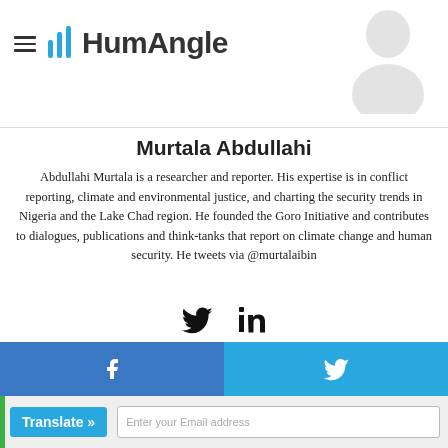HumAngle
Murtala Abdullahi
Abdullahi Murtala is a researcher and reporter. His expertise is in conflict reporting, climate and environmental justice, and charting the security trends in Nigeria and the Lake Chad region. He founded the Goro Initiative and contributes to dialogues, publications and think-tanks that report on climate change and human security. He tweets via @murtalaibin
[Figure (illustration): Twitter and LinkedIn social icons]
[Figure (illustration): Envelope/mail icon above subscribe box]
Subscribe
[Figure (illustration): Facebook and Twitter share buttons bar at bottom]
Translate »
Enter your Email address